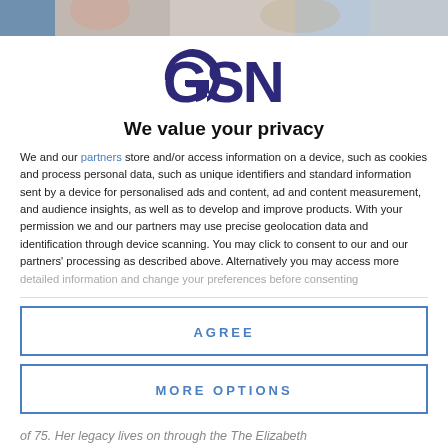[Figure (photo): Partial photo strip visible at top of page, showing blurred/cropped image of people]
[Figure (logo): GSN logo in dark navy/purple color, stylized letters G S N]
We value your privacy
We and our partners store and/or access information on a device, such as cookies and process personal data, such as unique identifiers and standard information sent by a device for personalised ads and content, ad and content measurement, and audience insights, as well as to develop and improve products. With your permission we and our partners may use precise geolocation data and identification through device scanning. You may click to consent to our and our partners' processing as described above. Alternatively you may access more detailed information and change your preferences before consenting
AGREE
MORE OPTIONS
of 75. Her legacy lives on through the The Elizabeth